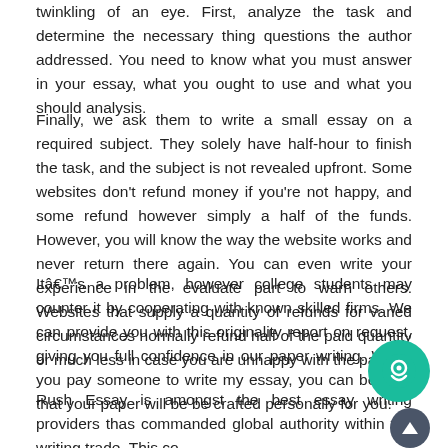twinkling of an eye. First, analyze the task and determine the necessary thing questions the author addressed. You need to know what you must answer in your essay, what you ought to use and what you should analysis.
Finally, we ask them to write a small essay on a required subject. They solely have half-hour to finish the task, and the subject is not revealed upfront. Some websites don't refund money if you're not happy, and some refund however simply a half of the funds. However, you will know the way the website works and never return there again. You can even write your experience in the evaluate part to warn others. Websites that supply a quantity of refunds for varied circumstances normally refund half of the paid quantity or much less in case you are unhappy with the paper.
Itâs a problem, however college students may counter it by cooperating with known skilled firms. We can provide you with this originality report on request, giving you full confidence in our paper writing. When you pay someone to write my essay, you can be sure that your paper will be be crafted personally for you.
Rush Essay is amongst the best essay writing providers that has commanded global authority within the writing trade. This co...